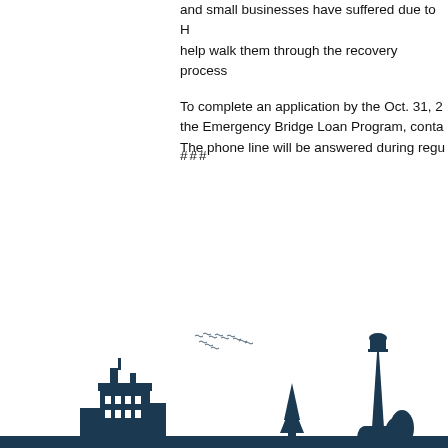and small businesses have suffered due to Hurricane Irma and help walk them through the recovery process.
To complete an application by the Oct. 31, 2017 deadline for the Emergency Bridge Loan Program, contact... The phone line will be answered during regular business hours.
###
[Figure (illustration): Florida skyline silhouette with buildings, trees, a lighthouse, and birds flying in the sky, rendered in dark navy/teal color against white background at bottom of page.]